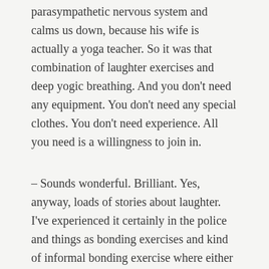parasympathetic nervous system and calms us down, because his wife is actually a yoga teacher. So it was that combination of laughter exercises and deep yogic breathing. And you don't need any equipment. You don't need any special clothes. You don't need experience. All you need is a willingness to join in.
– Sounds wonderful. Brilliant. Yes, anyway, loads of stories about laughter. I've experienced it certainly in the police and things as bonding exercises and kind of informal bonding exercise where either joke telling kind of goes around the vehicle or whatever it was to be, and people certainly feel a lot closer as a result. Okay, can we just